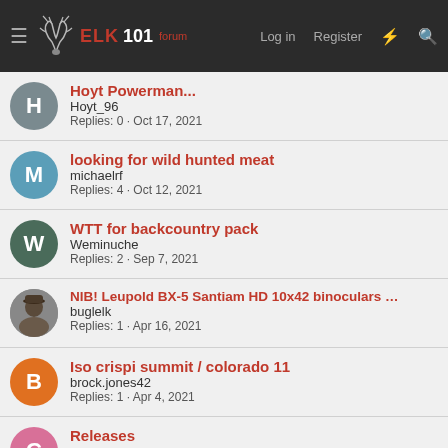ELK 101 — Log in | Register
Hoyt Powerman — Hoyt_96 — Replies: 0 · Oct 17, 2021
looking for wild hunted meat — michaelrf — Replies: 4 · Oct 12, 2021
WTT for backcountry pack — Weminuche — Replies: 2 · Sep 7, 2021
NIB! Leupold BX-5 Santiam HD 10x42 binoculars ($800!) — buglelk — Replies: 1 · Apr 16, 2021
Iso crispi summit / colorado 11 — brock.jones42 — Replies: 1 · Apr 4, 2021
Releases